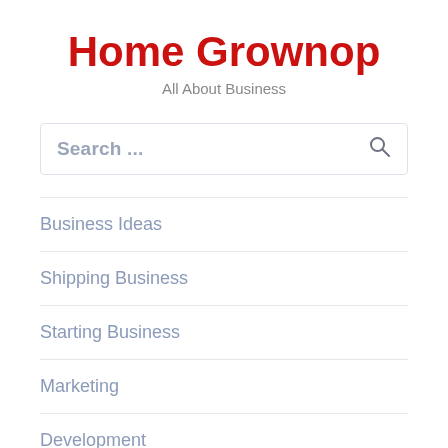Home Grownop
All About Business
Search ...
Business Ideas
Shipping Business
Starting Business
Marketing
Development